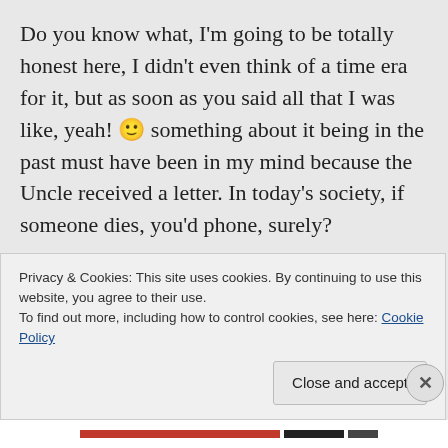Do you know what, I'm going to be totally honest here, I didn't even think of a time era for it, but as soon as you said all that I was like, yeah! 🙂 something about it being in the past must have been in my mind because the Uncle received a letter. In today's society, if someone dies, you'd phone, surely?
Ha ha ha, Leonardo DeCaprio….ooooo, definitely! 🙂
Privacy & Cookies: This site uses cookies. By continuing to use this website, you agree to their use. To find out more, including how to control cookies, see here: Cookie Policy
Close and accept